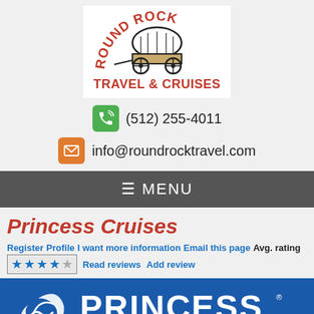[Figure (logo): Round Rock Travel & Cruises logo with covered wagon graphic in red and black]
(512) 255-4011
info@roundrocktravel.com
≡ MENU
Princess Cruises
Register   Profile   I want more information   Email this page   Avg. rating
★★★★ (4 stars)   Read reviews   Add review
[Figure (logo): Princess Cruises logo — white wave graphic and PRINCESS text on blue background]